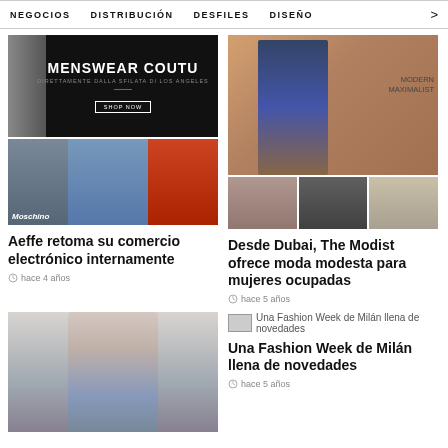NEGOCIOS   DISTRIBUCIÓN   DESFILES   DISEÑO   >
[Figure (screenshot): Article image: Menswear Couture ad with dark background, text 'MENSWEAR COUTU', 'DIRETTAMENTE DALLA SFILATA DI LOS ANGELES', 'SHOP NOW' button]
[Figure (photo): Article image: Moschino clothing items - three people wearing Moschino fashion]
Aeffe retoma su comercio electrónico internamente
hace 4 años
[Figure (photo): Article image: Fashion editorial - woman in floral setting, Modern Maximalist text overlay, three thumbnail images below]
Desde Dubai, The Modist ofrece moda modesta para mujeres ocupadas
hace 5 años
[Figure (photo): Article image: Fashion week photo - woman in sparkly blazer]
Una Fashion Week de Milán llena de novedades
Una Fashion Week de Milán llena de novedades
hace 5 años